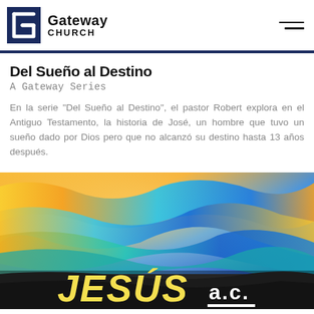Gateway Church
Del Sueño al Destino
A Gateway Series
En la serie "Del Sueño al Destino", el pastor Robert explora en el Antiguo Testamento, la historia de José, un hombre que tuvo un sueño dado por Dios pero que no alcanzó su destino hasta 13 años después.
[Figure (illustration): Colorful wavy abstract landscape with orange, yellow, blue, and teal gradient waves over a grayscale desert background. Large bold text reads 'JESÚS a.c.' in yellow with white letters and a white underline bar.]